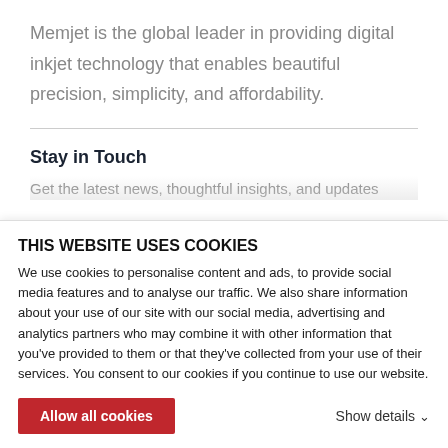Memjet is the global leader in providing digital inkjet technology that enables beautiful precision, simplicity, and affordability.
Stay in Touch
Get the latest news, thoughtful insights, and updates
THIS WEBSITE USES COOKIES
We use cookies to personalise content and ads, to provide social media features and to analyse our traffic. We also share information about your use of our site with our social media, advertising and analytics partners who may combine it with other information that you've provided to them or that they've collected from your use of their services. You consent to our cookies if you continue to use our website.
Allow all cookies
Show details